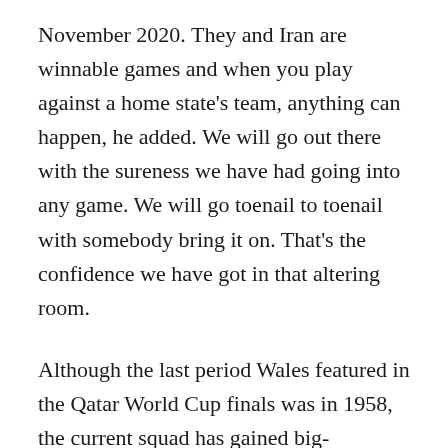November 2020. They and Iran are winnable games and when you play against a home state's team, anything can happen, he added. We will go out there with the sureness we have had going into any game. We will go toenail to toenail with somebody bring it on. That's the confidence we have got in that altering room.
Although the last period Wales featured in the Qatar World Cup finals was in 1958, the current squad has gained big-tournament knowledge through the last two European Championship campaigns. Under manager Chris Coleman in 2016, Wales upset Belgium in the rounds before being halted by Cristiano Ronaldo's Portugal who went on to win the contest. U.S. manager Gregg Berhalter, meanwhile,